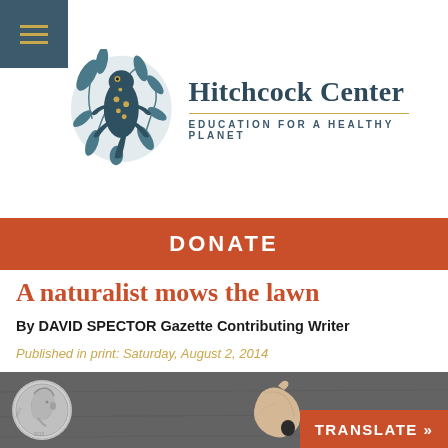[Figure (logo): Hitchcock Center logo with stylized salamander/lizard among leaves in teal and gold colors]
Hitchcock Center
EDUCATION FOR A HEALTHY PLANET
DONATE
A naturalist mows the lawn
By DAVID SPECTOR Gazette Contributing Writer
Published in print: Saturday, August 2, 2014
[Figure (photo): Photo of a US dime coin next to a small tan/beige seed or natural object on a dark gray slate background]
TRANSLATE »